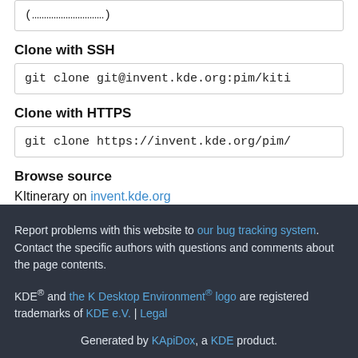(truncated git command box at top)
Clone with SSH
git clone git@invent.kde.org:pim/kiti…
Clone with HTTPS
git clone https://invent.kde.org/pim/…
Browse source
KItinerary on invent.kde.org
Report problems with this website to our bug tracking system. Contact the specific authors with questions and comments about the page contents. KDE® and the K Desktop Environment® logo are registered trademarks of KDE e.V. | Legal Generated by KApiDox, a KDE product.